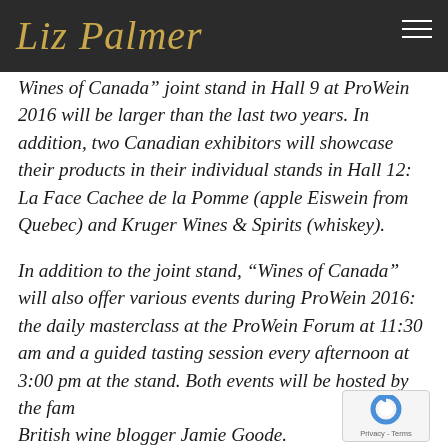Liz Palmer
Wines of Canada" joint stand in Hall 9 at ProWein 2016 will be larger than the last two years. In addition, two Canadian exhibitors will showcase their products in their individual stands in Hall 12:  La Face Cachee de la Pomme (apple Eiswein from Quebec) and Kruger Wines & Spirits (whiskey).
In addition to the joint stand, “Wines of Canada” will also offer various events during ProWein 2016: the daily masterclass at the ProWein Forum at 11:30 am and a guided tasting session every afternoon at 3:00 pm at the stand. Both events will be hosted by the famous British wine blogger Jamie Goode.